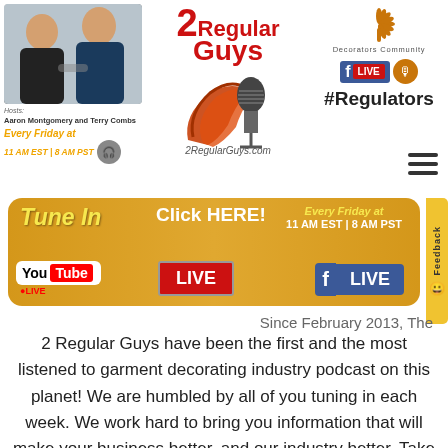[Figure (photo): Two hosts (Aaron Montgomery and Terry Combs) smiling with drinks, podcast logo with bacon and microphone, Decorators Community logo, Facebook Live and podcast buttons, #Regulators text, hamburger menu icon]
Hosts: Aaron Montgomery and Terry Combs
Every Friday at 11 AM EST | 8 AM PST
2 Regular Guys
2RegularGuys.com
Decorators Community
LIVE
#Regulators
[Figure (infographic): Golden banner with Tune In, Click HERE!, Every Friday at 11 AM EST | 8 AM PST, YouTube LIVE, red LIVE button, Facebook LIVE button]
Since February 2013, The 2 Regular Guys have been the first and the most listened to garment decorating industry podcast on this planet! We are humbled by all of you tuning in each week. We work hard to bring you information that will make your business better, and our industry better. Take a look at our incredible weekly guest list and you'll understand where this industry